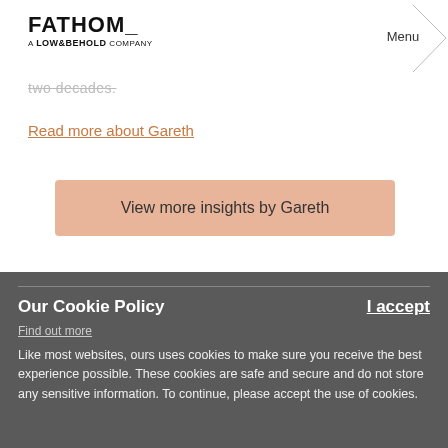FATHOM_ A LOW&BEHOLD COMPANY | Menu
two decades.
Read more about Gareth
View more insights by Gareth
Our Cookie Policy
I accept
Find out more
Like most websites, ours uses cookies to make sure you receive the best experience possible. These cookies are safe and secure and do not store any sensitive information. To continue, please accept the use of cookies.